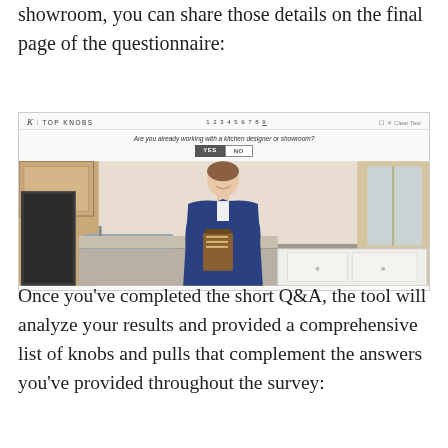showroom, you can share those details on the final page of the questionnaire:
[Figure (screenshot): Screenshot of Top Knobs questionnaire tool showing step navigation (1 2 3 4 5 6 7 8 9), question 'Are you already working with a kitchen designer or showroom?' with YES and NO buttons, and a photo of a woman in a navy blazer holding a clipboard standing in a kitchen]
Once you’ve completed the short Q&A, the tool will analyze your results and provided a comprehensive list of knobs and pulls that complement the answers you’ve provided throughout the survey: